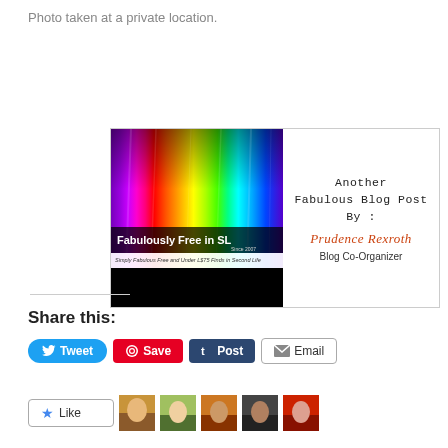Photo taken at a private location.
[Figure (illustration): Blog banner card for 'Fabulously Free in SL' with rainbow gradient image on left and blog post attribution on right: 'Another Fabulous Blog Post By: Prudence Rexroth, Blog Co-Organizer']
Share this:
Tweet
Save
Post
Email
Like